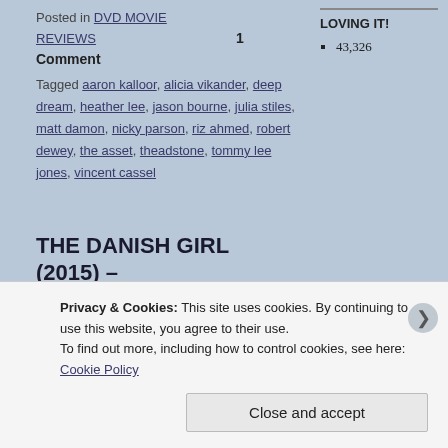LOVING IT!
43,326
Posted in DVD MOVIE REVIEWS   1 Comment
Tagged aaron kalloor, alicia vikander, deep dream, heather lee, jason bourne, julia stiles, matt damon, nicky parson, riz ahmed, robert dewey, the asset, theadstone, tommy lee jones, vincent cassel
THE DANISH GIRL (2015) – My rating: 8.5/10
Posted on January 22, 2016 | 1 comment
[Figure (photo): Movie cover image for The Danish Girl (2015) with golden coloring]
In the
Privacy & Cookies: This site uses cookies. By continuing to use this website, you agree to their use.
To find out more, including how to control cookies, see here: Cookie Policy
Close and accept